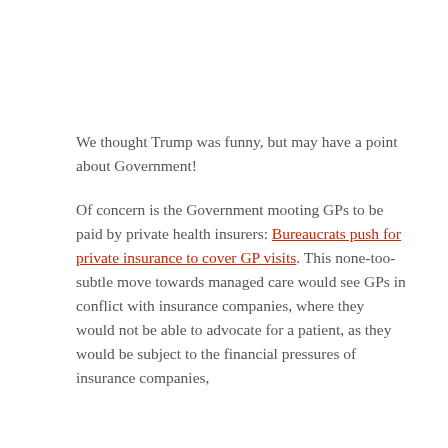We thought Trump was funny, but may have a point about Government!
Of concern is the Government mooting GPs to be paid by private health insurers: Bureaucrats push for private insurance to cover GP visits. This none-too-subtle move towards managed care would see GPs in conflict with insurance companies, where they would not be able to advocate for a patient, as they would be subject to the financial pressures of insurance companies,